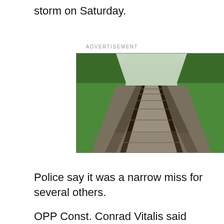storm on Saturday.
ADVERTISEMENT
[Figure (photo): Perspective view of railway tracks stretching to the vanishing point, flanked by green trees and vegetation on both sides, concrete ties visible, taken from moving train or track level.]
Police say it was a narrow miss for several others.
OPP Const. Conrad Vitalis said when officers